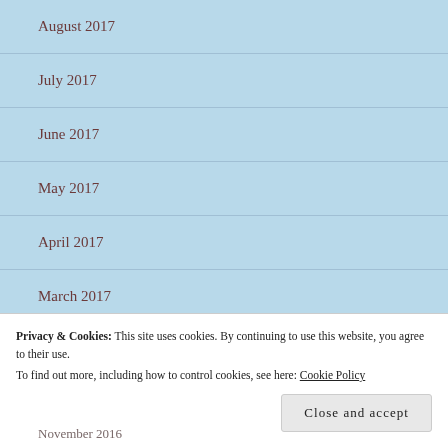August 2017
July 2017
June 2017
May 2017
April 2017
March 2017
February 2017
Privacy & Cookies: This site uses cookies. By continuing to use this website, you agree to their use. To find out more, including how to control cookies, see here: Cookie Policy
Close and accept
November 2016